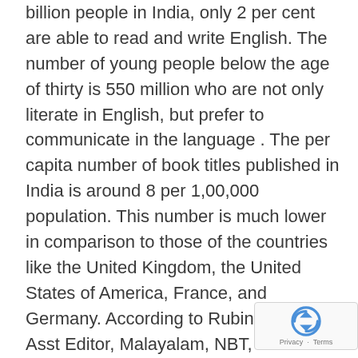billion people in India, only 2 per cent are able to read and write English. The number of young people below the age of thirty is 550 million who are not only literate in English, but prefer to communicate in the language . The per capita number of book titles published in India is around 8 per 1,00,000 population. This number is much lower in comparison to those of the countries like the United Kingdom, the United States of America, France, and Germany. According to Rubin D'Cruz, Asst Editor, Malayalam, NBT, in terms of languages, the per capita number of titles published per 1,00,000 persons is 6.3 in Bengali, 6.2 in Gujarati, 5 in Hindi, 4.8 in Kannada, 4.2 in Telugu, 3.9 in Urdu, and 7.7 in Assamese (the highest). The publishing